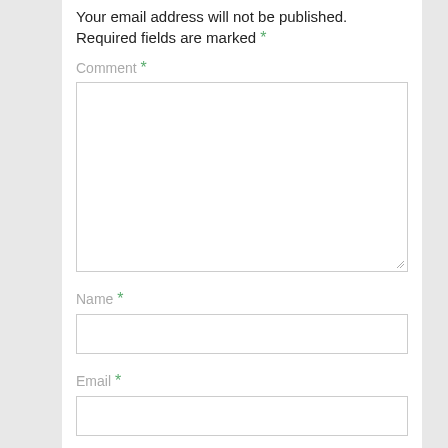Your email address will not be published. Required fields are marked *
Comment *
[Figure (other): Large empty comment textarea input box]
Name *
[Figure (other): Single-line name input field]
Email *
[Figure (other): Single-line email input field]